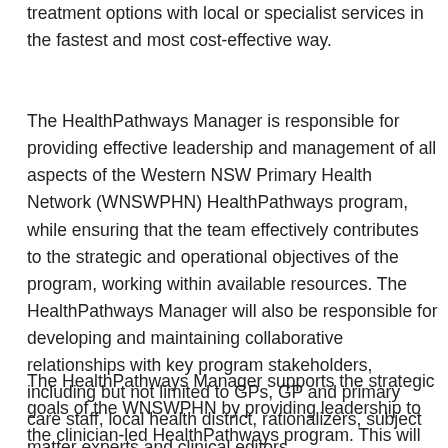treatment options with local or specialist services in the fastest and most cost-effective way.
The HealthPathways Manager is responsible for providing effective leadership and management of all aspects of the Western NSW Primary Health Network (WNSWPHN) HealthPathways program, while ensuring that the team effectively contributes to the strategic and operational objectives of the program, working within available resources. The HealthPathways Manager will also be responsible for developing and maintaining collaborative relationships with key program stakeholders, including but not limited to GPs, GP and primary care staff, local health district, rationalizers, subject matter experts and clinical editors.
The HealthPathways Manager supports the strategic goals of the WNSWPHN by providing leadership to the clinician-led HealthPathways program. This will ensure that the program is developed and integrated across the region to maximize local